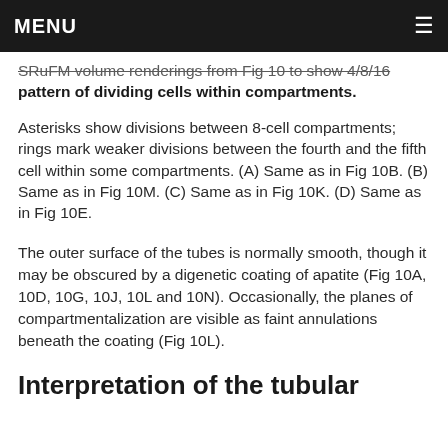MENU
SRuFM volume renderings from Fig 10 to show 4/8/16 pattern of dividing cells within compartments. Asterisks show divisions between 8-cell compartments; rings mark weaker divisions between the fourth and the fifth cell within some compartments. (A) Same as in Fig 10B. (B) Same as in Fig 10M. (C) Same as in Fig 10K. (D) Same as in Fig 10E.
The outer surface of the tubes is normally smooth, though it may be obscured by a digenetic coating of apatite (Fig 10A, 10D, 10G, 10J, 10L and 10N). Occasionally, the planes of compartmentalization are visible as faint annulations beneath the coating (Fig 10L).
Interpretation of the tubular